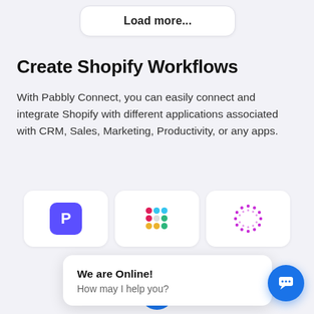Load more...
Create Shopify Workflows
With Pabbly Connect, you can easily connect and integrate Shopify with different applications associated with CRM, Sales, Marketing, Productivity, or any apps.
[Figure (screenshot): Three app icon cards in a row: Pabbly (purple square with P), Slack (colorful hash logo), and a dotted purple circle logo]
CRM
[Figure (screenshot): Partial blue circle icon visible at bottom, partially obscured by chat popup]
We are Online!
How may I help you?